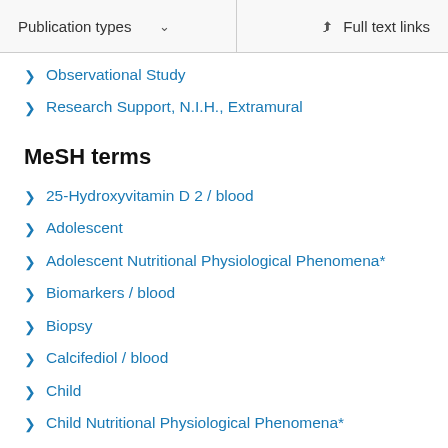Publication types  ∨    Full text links
Observational Study
Research Support, N.I.H., Extramural
MeSH terms
25-Hydroxyvitamin D 2 / blood
Adolescent
Adolescent Nutritional Physiological Phenomena*
Biomarkers / blood
Biopsy
Calcifediol / blood
Child
Child Nutritional Physiological Phenomena*
Child, Preschool
Cross-Sectional Studies
Humans
Hypertriglyceridemia / complications